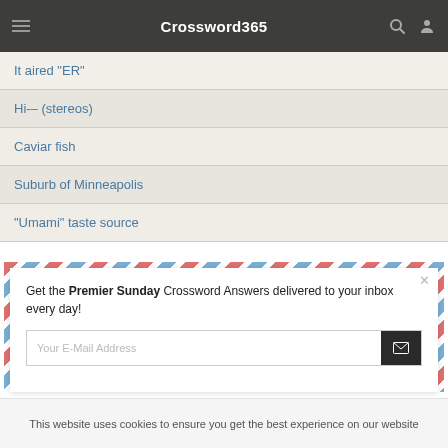Crossword365
It aired "ER"
Hi-– (stereos)
Caviar fish
Suburb of Minneapolis
"Umami" taste source
[Figure (screenshot): Email subscription popup with airmail border design. Text: 'Get the Premier Sunday Crossword Answers delivered to your inbox every day!' with an email input field and send button.]
Get the Premier Sunday Crossword Answers delivered to your inbox every day!
Your E-Mail Address
This website uses cookies to ensure you get the best experience on our website